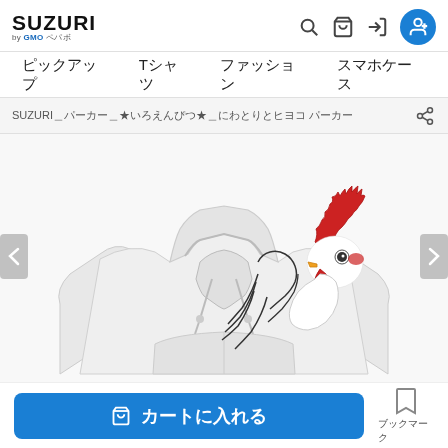SUZURI by GMO ペパボ
ピックアップ　Tシャツ　ファッション　スマホケース
SUZURI _ パーカー _ ★いろえんぴつ★ _ にわとりとヒヨコ パーカー
[Figure (photo): White hoodie/pullover with a cartoon rooster illustration printed on the chest area. The rooster has a red comb and beak detail with colored pencil style drawing.]
🛒 カートに入れる
ブックマーク